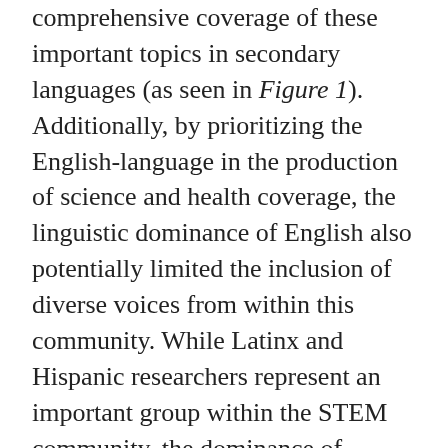comprehensive coverage of these important topics in secondary languages (as seen in Figure 1). Additionally, by prioritizing the English-language in the production of science and health coverage, the linguistic dominance of English also potentially limited the inclusion of diverse voices from within this community. While Latinx and Hispanic researchers represent an important group within the STEM community, the dominance of English in science and the news may prove to be an insurmountable linguistic barrier to many researchers. Two other points are particularly worth noting with regards to science and health-related coverage across these publications: 1) A significant temporal gap was often noted between the publishing of congruent